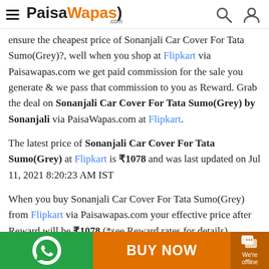PaisaWapas.com
ensure the cheapest price of Sonanjali Car Cover For Tata Sumo(Grey)?, well when you shop at Flipkart via Paisawapas.com we get paid commission for the sale you generate & we pass that commission to you as Reward. Grab the deal on Sonanjali Car Cover For Tata Sumo(Grey) by Sonanjali via PaisaWapas.com at Flipkart.
The latest price of Sonanjali Car Cover For Tata Sumo(Grey) at Flipkart is ₹1078 and was last updated on Jul 11, 2021 8:20:23 AM IST
When you buy Sonanjali Car Cover For Tata Sumo(Grey) from Flipkart via Paisawapas.com your effective price after Reward will be ₹1078 (*see Reward rates for details).